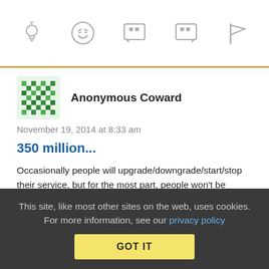[Figure (other): Top navigation icon bar with five icons: lightbulb, laughing emoji, open-quote speech bubble, close-quote speech bubble, and flag]
Anonymous Coward
November 19, 2014 at 8:33 am
350 million...
Occasionally people will upgrade/downgrade/start/stop their service, but for the most part, people won't be contacting a cable company unless something's wrong. Perhaps he should be questioning why people need to be in contact with the company 400 million times a year.
This site, like most other sites on the web, uses cookies. For more information, see our privacy policy
GOT IT